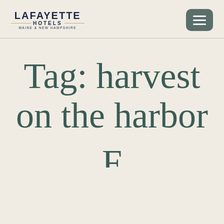[Figure (logo): Lafayette Hotels logo with name in navy blue, gold divider lines, and subtitle 'Maine & New Hampshire']
[Figure (other): Hamburger menu button icon — dark teal rounded rectangle with three white horizontal lines]
Tag: harvest on the harbor
F (partial letter, cropped at bottom of page)